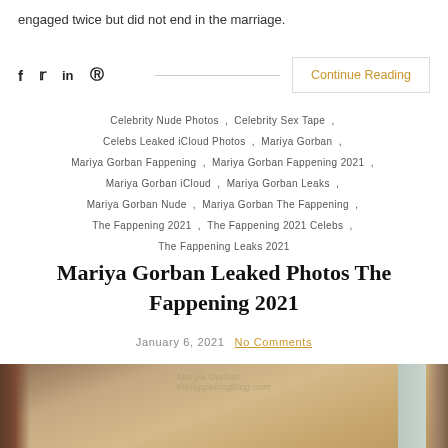engaged twice but did not end in the marriage.
f  y  in  ® [social icons] Continue Reading
Celebrity Nude Photos , Celebrity Sex Tape , Celebs Leaked iCloud Photos , Mariya Gorban , Mariya Gorban Fappening , Mariya Gorban Fappening 2021 , Mariya Gorban iCloud , Mariya Gorban Leaks , Mariya Gorban Nude , Mariya Gorban The Fappening , The Fappening 2021 , The Fappening 2021 Celebs , The Fappening Leaks 2021
Mariya Gorban Leaked Photos The Fappening 2021
January 6, 2021  No Comments
[Figure (photo): Photo of a person holding a ukulele, cropped, with watermark text 'thefappeningblog.com']